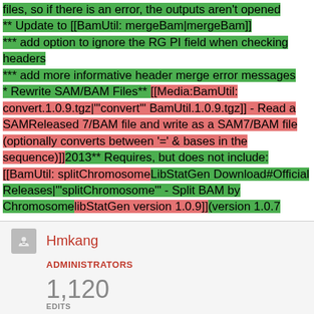files, so if there is an error, the outputs aren't opened ** Update to [[BamUtil: mergeBam|mergeBam]] *** add option to ignore the RG PI field when checking headers *** add more informative header merge error messages * Rewrite SAM/BAM Files** [[Media:BamUtil: convert.1.0.9.tgz|'"convert'" BamUtil.1.0.9.tgz]] - Read a SAMReleased 7/BAM file and write as a SAM7/BAM file (optionally converts between '=' & bases in the sequence)]]2013** Requires, but does not include: [[BamUtil: splitChromosomeLibStatGen Download#Official Releases|'"splitChromosome'" - Split BAM by ChromosomelibStatGen version 1.0.9]](version 1.0.7
Hmkang
ADMINISTRATORS
1,120 EDITS